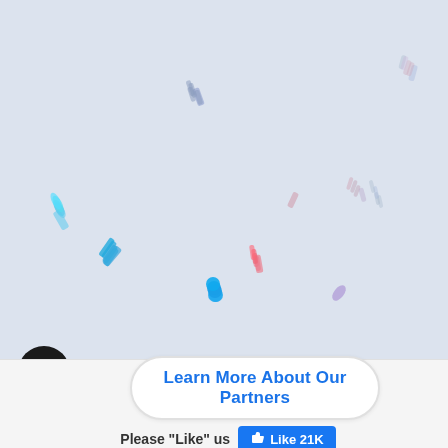[Figure (illustration): Light blue-gray background with scattered colorful confetti pieces (small rectangles, ovals, and circles) in cyan, red, pink, green, purple, orange, and blue scattered across the upper portion of the image]
Learn More About Our Partners
Please "Like" us  Like 21K